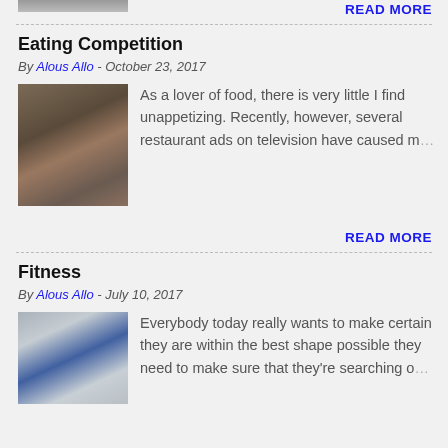[Figure (photo): Partial top of a photo, cropped]
READ MORE
Eating Competition
By Alous Allo - October 23, 2017
[Figure (photo): Photo of men at an eating competition]
As a lover of food, there is very little I find unappetizing. Recently, however, several restaurant ads on television have caused m…
READ MORE
Fitness
By Alous Allo - July 10, 2017
[Figure (photo): Photo of a muscular man in a Superman shirt flexing]
Everybody today really wants to make certain they are within the best shape possible they need to make sure that they're searching o…